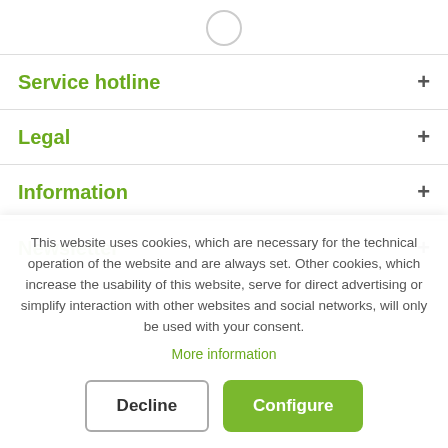[Figure (other): Loading spinner circle at top of page]
Service hotline
Legal
Information
Newsletter
This website uses cookies, which are necessary for the technical operation of the website and are always set. Other cookies, which increase the usability of this website, serve for direct advertising or simplify interaction with other websites and social networks, will only be used with your consent. More information
Decline
Configure